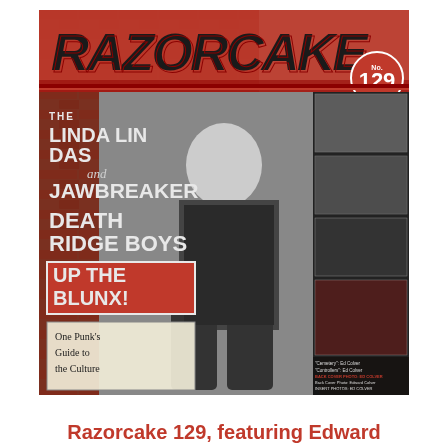[Figure (photo): Magazine cover of Razorcake No. 129 featuring Edward Colver. The cover shows a man (Edward Colver) seated in black and white photography against a collage background. Left side features band names: The Linda Lindas and Jawbreaker, Death Ridge Boys, Up The Blunx!, One Punk's Guide to the Culture. Right side shows a photo strip of black and white concert photos. Issue number 129 badge in top right. 'Edward Colver' written in red on upper right.]
Razorcake 129, featuring Edward